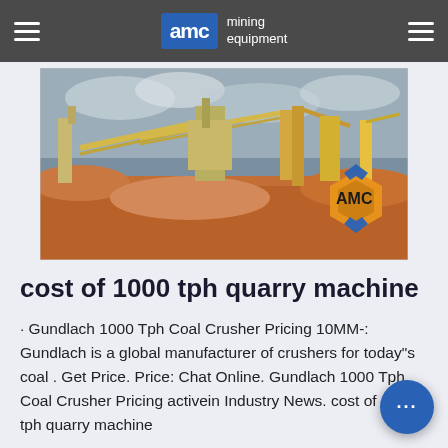AMC mining equipment
[Figure (photo): Mining equipment site with conveyor belts, cranes, and industrial machinery on a red-dirt landscape. AMC logo visible in the bottom right corner of the photo.]
cost of 1000 tph quarry machine
· Gundlach 1000 Tph Coal Crusher Pricing 10MM-: Gundlach is a global manufacturer of crushers for today"s coal . Get Price. Price: Chat Online. Gundlach 1000 Tph Coal Crusher Pricing activein Industry News. cost of 1000 tph quarry machine